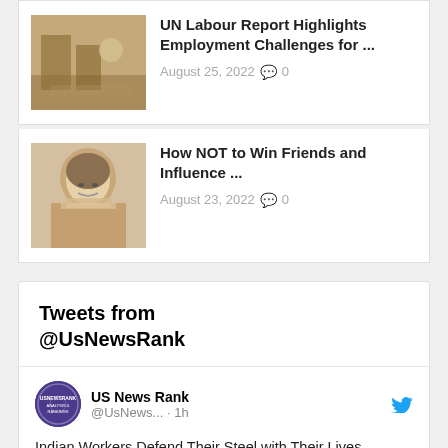[Figure (photo): Thumbnail photo for UN Labour Report article]
UN Labour Report Highlights Employment Challenges for ...
August 25, 2022  💬 0
[Figure (photo): Thumbnail photo of a man for How NOT to Win Friends article]
How NOT to Win Friends and Influence ...
August 23, 2022  💬 0
Tweets from @UsNewsRank
[Figure (logo): US News Rank circular purple logo]
US News Rank @UsNews... · 1h
Indian Workers Defend Their Steel with Their Lives